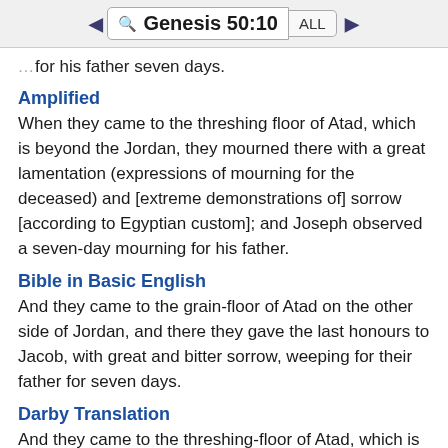◀ 🔍 Genesis 50:10  ALL  ▶
for his father seven days.
Amplified
When they came to the threshing floor of Atad, which is beyond the Jordan, they mourned there with a great lamentation (expressions of mourning for the deceased) and [extreme demonstrations of] sorrow [according to Egyptian custom]; and Joseph observed a seven-day mourning for his father.
Bible in Basic English
And they came to the grain-floor of Atad on the other side of Jordan, and there they gave the last honours to Jacob, with great and bitter sorrow, weeping for their father for seven days.
Darby Translation
And they came to the threshing-floor of Atad, which is beyond the Jordan; and there they lamented with a